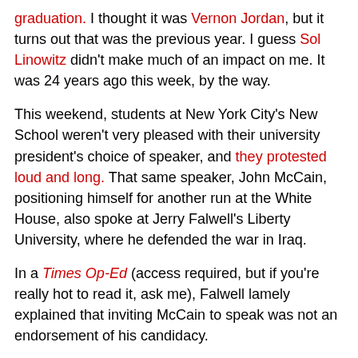graduation. I thought it was Vernon Jordan, but it turns out that was the previous year. I guess Sol Linowitz didn't make much of an impact on me. It was 24 years ago this week, by the way.
This weekend, students at New York City's New School weren't very pleased with their university president's choice of speaker, and they protested loud and long. That same speaker, John McCain, positioning himself for another run at the White House, also spoke at Jerry Falwell's Liberty University, where he defended the war in Iraq.
In a Times Op-Ed (access required, but if you're really hot to read it, ask me), Falwell lamely explained that inviting McCain to speak was not an endorsement of his candidacy.
Part of our tradition is to expose students to outstanding leaders from all walks of life, including some who may not completely agree with Liberty's philosophy.
Our commencement exercises present an